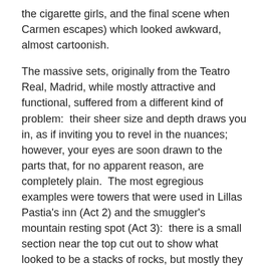the cigarette girls, and the final scene when Carmen escapes) which looked awkward, almost cartoonish.
The massive sets, originally from the Teatro Real, Madrid, while mostly attractive and functional, suffered from a different kind of problem:  their sheer size and depth draws you in, as if inviting you to revel in the nuances; however, your eyes are soon drawn to the parts that, for no apparent reason, are completely plain.  The most egregious examples were towers that were used in Lillas Pastia's inn (Act 2) and the smuggler's mountain resting spot (Act 3):  there is a small section near the top cut out to show what looked to be a stacks of rocks, but mostly they are flat, straight-sided and painted a dull grey.  At best, they looked out-of-place; at worst, they looked like the artisans ran out of time constructing the set; either